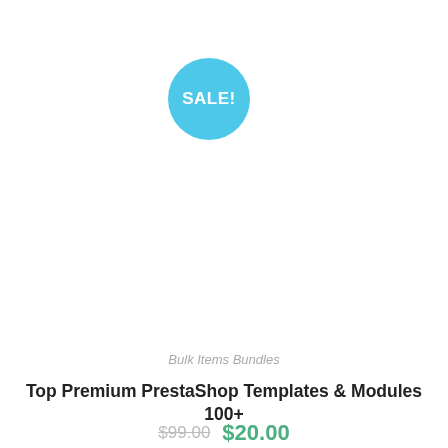[Figure (other): Cyan/blue circular badge with text SALE! in white bold letters]
Bulk Items Bundles
Top Premium PrestaShop Templates & Modules 100+
$99.00 $20.00